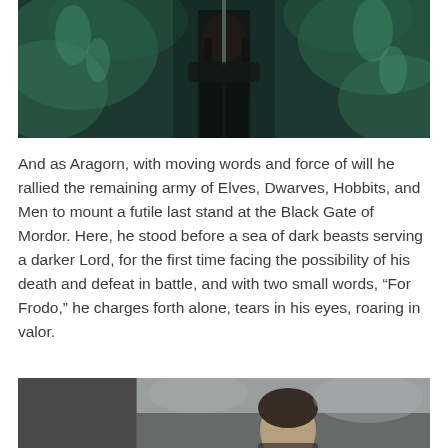[Figure (photo): Dark fantasy movie still showing a man with long dark hair holding a sword, surrounded by green ghostly mist and apparitions — likely Aragorn from Lord of the Rings]
And as Aragorn, with moving words and force of will he rallied the remaining army of Elves, Dwarves, Hobbits, and Men to mount a futile last stand at the Black Gate of Mordor. Here, he stood before a sea of dark beasts serving a darker Lord, for the first time facing the possibility of his death and defeat in battle, and with two small words, “For Frodo,” he charges forth alone, tears in his eyes, roaring in valor.
[Figure (photo): Movie still showing a man with dark hair in a gray/smoky outdoor setting — partial view cut off at bottom of page]